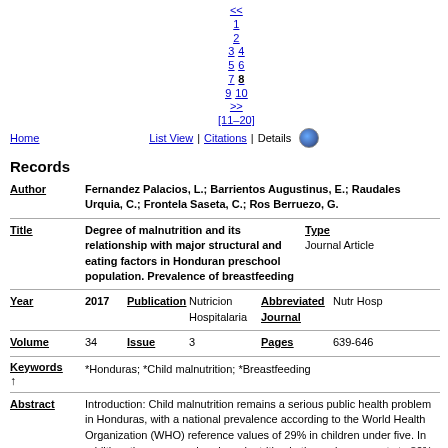<< 1 2 3 4 5 6 7 8 9 10 >> [11-20]
Home | List View | Citations | Details
Records
Author: Fernandez Palacios, L.; Barrientos Augustinus, E.; Raudales Urquia, C.; Frontela Saseta, C.; Ros Berruezo, G.
Title: Degree of malnutrition and its relationship with major structural and eating factors in Honduran preschool population. Prevalence of breastfeeding | Type: Journal Article
Year: 2017 | Publication: Nutricion Hospitalaria | Abbreviated Journal: Nutr Hosp
Volume: 34 | Issue: 3 | Pages: 639-646
Keywords: *Honduras; *Child malnutrition; *Breastfeeding
Abstract: Introduction: Child malnutrition remains a serious public health problem in Honduras, with a national prevalence according to the World Health Organization (WHO) reference values of 29% in children under fi ve. In addition, the average chronic malnutrition in the region amounts to 80% in poor and indigenous communities, making Honduras the second country in Central America with the highest incidence of chronic malnutrition. Another problem of the region is the early cessation of exclusive breastfeeding; only